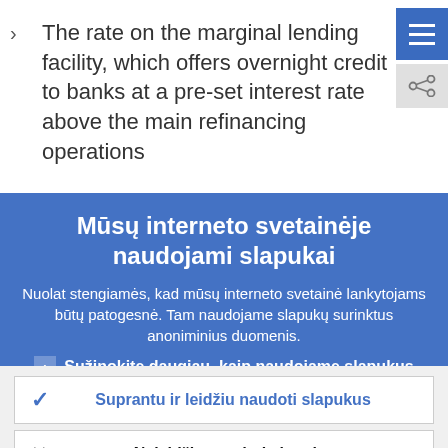The rate on the marginal lending facility, which offers overnight credit to banks at a pre-set interest rate above the main refinancing operations
Mūsų interneto svetainėje naudojami slapukai
Nuolat stengiamės, kad mūsų interneto svetainė lankytojams būtų patogesnė. Tam naudojame slapukų surinktus anoniminius duomenis.
Sužinokite daugiau, kaip naudojame slapukus
Suprantu ir leidžiu naudoti slapukus
Neleidžiu naudoti slapukų